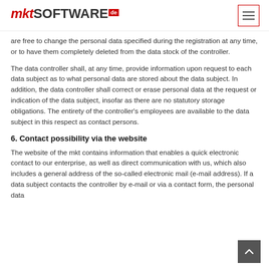mktSOFTWARE.de
are free to change the personal data specified during the registration at any time, or to have them completely deleted from the data stock of the controller.
The data controller shall, at any time, provide information upon request to each data subject as to what personal data are stored about the data subject. In addition, the data controller shall correct or erase personal data at the request or indication of the data subject, insofar as there are no statutory storage obligations. The entirety of the controller's employees are available to the data subject in this respect as contact persons.
6. Contact possibility via the website
The website of the mkt contains information that enables a quick electronic contact to our enterprise, as well as direct communication with us, which also includes a general address of the so-called electronic mail (e-mail address). If a data subject contacts the controller by e-mail or via a contact form, the personal data